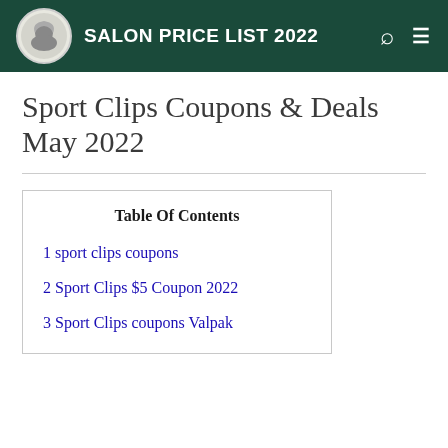SALON PRICE LIST 2022
Sport Clips Coupons & Deals May 2022
| Table Of Contents |
| --- |
| 1 sport clips coupons |
| 2 Sport Clips $5 Coupon 2022 |
| 3 Sport Clips coupons Valpak |